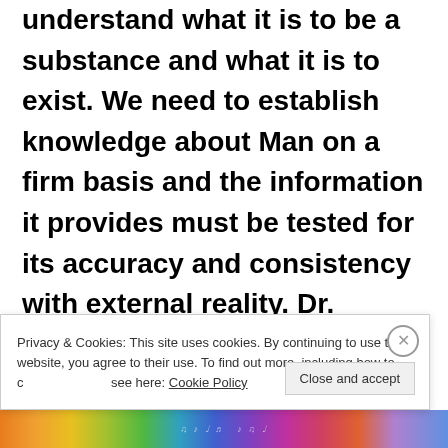understand what it is to be a substance and what it is to exist. We need to establish knowledge about Man on a firm basis and the information it provides must be tested for its accuracy and consistency with external reality. Dr. William James in his book, The Principles of Psychology, has observed: “True ideas are those we can
Privacy & Cookies: This site uses cookies. By continuing to use this website, you agree to their use. To find out more, including how to control cookies, see here: Cookie Policy
Close and accept
[Figure (illustration): Colorful decorative bottom strip with musical/artistic pattern motifs in orange, yellow, green, blue, purple and pink gradient colors]